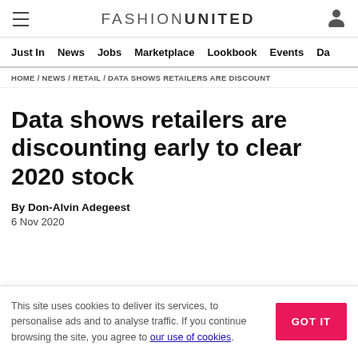FASHIONUNITED
Just In  News  Jobs  Marketplace  Lookbook  Events  Da
HOME / NEWS / RETAIL / DATA SHOWS RETAILERS ARE DISCOUNT
Data shows retailers are discounting early to clear 2020 stock
By Don-Alvin Adegeest
6 Nov 2020
This site uses cookies to deliver its services, to personalise ads and to analyse traffic. If you continue browsing the site, you agree to our use of cookies.